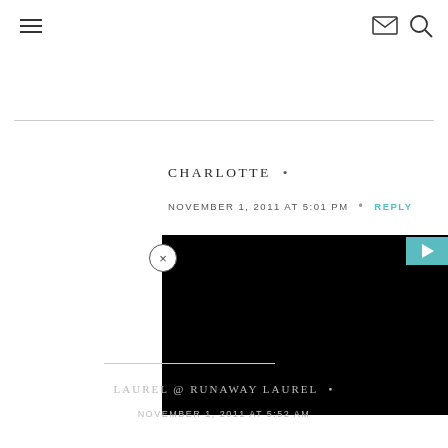Navigation header with hamburger menu, email icon, and search icon
CHARLOTTE •
NOVEMBER 1, 2011 AT 5:01 PM • REPLY
[Figure (screenshot): Black video player embed with teal play button in top-right corner and a close (×) button overlay]
LAUREL @ RUNAWAY LAUREL •
NOVEMBER 1, 2011 AT 5:52 AM